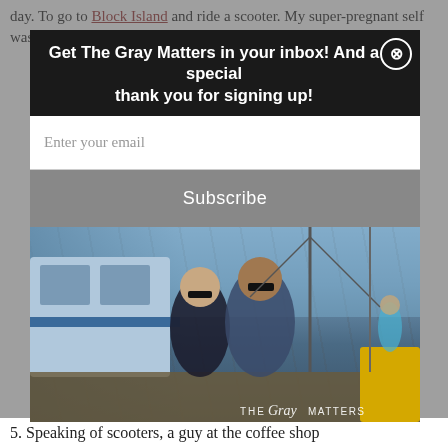day. To go to Block Island and ride a scooter. My super-pregnant self wasn't allowed
Get The Gray Matters in your inbox! And a special thank you for signing up!
Enter your email
Subscribe
[Figure (photo): A couple (woman and man both wearing sunglasses) standing on a dock or pier near a boat with cranes and rigging visible in the background. Watermark reads 'THE Gray MATTERS'.]
5. Speaking of scooters, a guy at the coffee shop